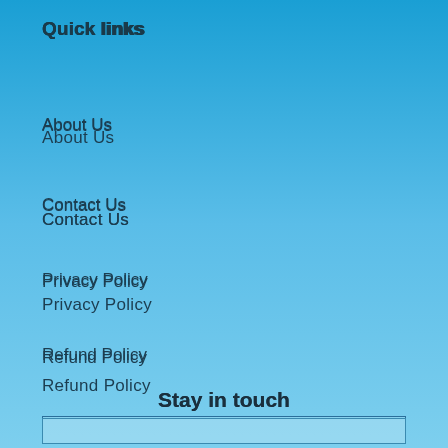Quick links
About Us
Contact Us
Privacy Policy
Refund Policy
Shipping Policy
Terms of Service
Search
Stay in touch